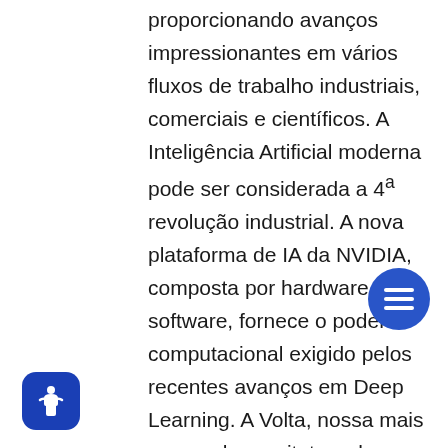proporcionando avanços impressionantes em vários fluxos de trabalho industriais, comerciais e científicos. A Inteligência Artificial moderna pode ser considerada a 4ª revolução industrial. A nova plataforma de IA da NVIDIA, composta por hardware e software, fornece o poder computacional exigido pelos recentes avanços em Deep Learning. A Volta, nossa mais avançada arquitetura de GPUs, foi especialmente projetada para as cargas de trabalho de computação de alto desempenho necessárias para treinamento e inferência de redes neurais profundas com uma enorme quantidade de dados. É a primeira arquitetura GPU que inclui Tensor Cores, unidades de processamento projetadas para operações com tensores. A versão mais recente da linguagem CUDA (versão